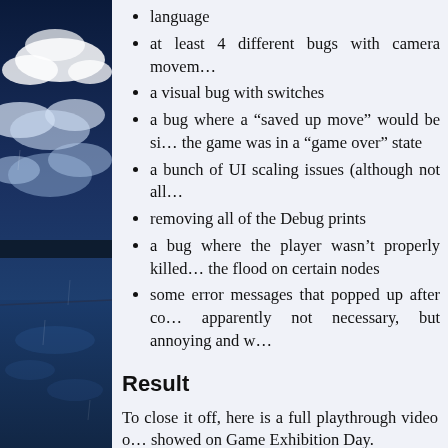[Figure (illustration): Dark blue cloudy sky with white clouds and a reflective water surface, used as a decorative sidebar background image.]
language
at least 4 different bugs with camera movem…
a visual bug with switches
a bug where a “saved up move” would be si… the game was in a “game over” state
a bunch of UI scaling issues (although not all…
removing all of the Debug prints
a bug where the player wasn’t properly killed… the flood on certain nodes
some error messages that popped up after co… apparently not necessary, but annoying and w…
Result
To close it off, here is a full playthrough video o… showed on Game Exhibition Day.